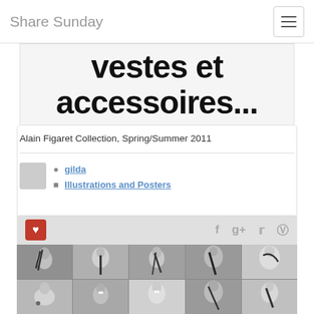Share Sunday
[Figure (photo): Cropped image showing large bold text 'vestes et accessoires...' in black on white/grey background]
Alain Figaret Collection, Spring/Summer 2011
gilda
Illustrations and Posters
[Figure (photo): Grid collage of black and white illustrations showing stylized mannequin/face figures from the Alain Figaret collection]